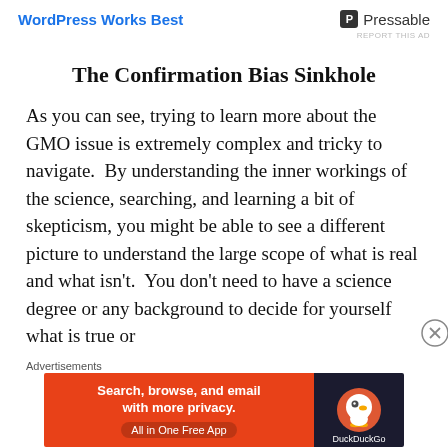WordPress Works Best   P Pressable
REPORT THIS AD
The Confirmation Bias Sinkhole
As you can see, trying to learn more about the GMO issue is extremely complex and tricky to navigate.  By understanding the inner workings of the science, searching, and learning a bit of skepticism, you might be able to see a different picture to understand the large scope of what is real and what isn't.  You don't need to have a science degree or any background to decide for yourself what is true or
Advertisements
[Figure (screenshot): DuckDuckGo advertisement banner: orange left panel with text 'Search, browse, and email with more privacy. All in One Free App' and dark right panel with DuckDuckGo logo]
REPORT THIS AD